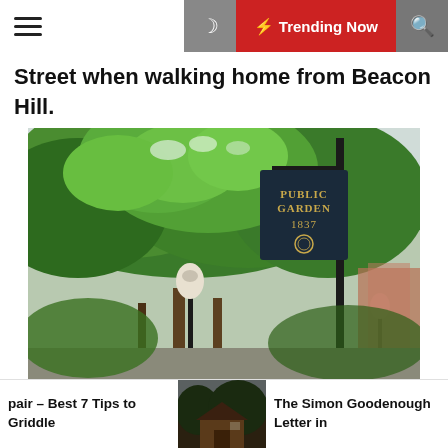☰  🌙  ⚡ Trending Now  🔍
Street when walking home from Beacon Hill.
[Figure (photo): Outdoor photo of Boston Public Garden sign reading 'PUBLIC GARDEN 1837' on a black post, surrounded by lush green trees and a lamp post in the foreground.]
pair – Best 7 Tips to Griddle
[Figure (photo): Small thumbnail image of a dark brown wooden structure or cabin.]
The Simon Goodenough Letter in